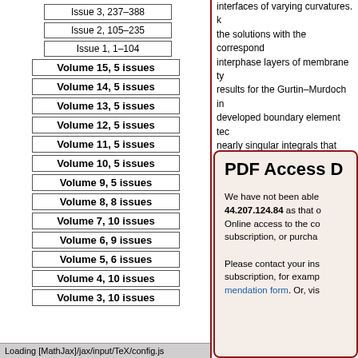Issue 3, 237–388
Issue 2, 105–235
Issue 1, 1–104
Volume 15, 5 issues
Volume 14, 5 issues
Volume 13, 5 issues
Volume 12, 5 issues
Volume 11, 5 issues
Volume 10, 5 issues
Volume 9, 5 issues
Volume 8, 8 issues
Volume 7, 10 issues
Volume 6, 9 issues
Volume 5, 6 issues
Volume 4, 10 issues
Volume 3, 10 issues
interfaces of varying curvatures. the solutions with the corresponding interphase layers of membrane type results for the Gurtin–Murdoch in developed boundary element technique nearly singular integrals that appear developed technique is used to study residual surface tension on the lo
PDF Access D
We have not been able to access 44.207.124.84 as that o Online access to the content subscription, or purcha
Please contact your institution subscription, for example mendation form. Or, visit
Loading [MathJax]/jax/input/TeX/config.js